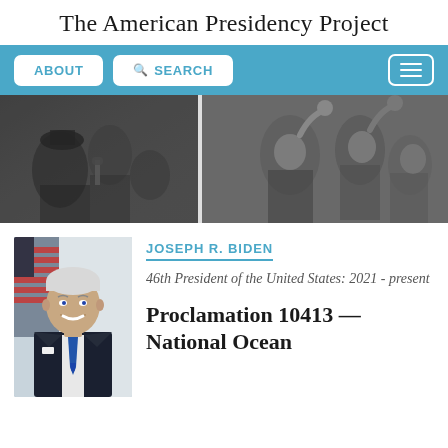The American Presidency Project
[Figure (screenshot): Website navigation bar with ABOUT and SEARCH buttons on blue background, and hamburger menu icon on right]
[Figure (photo): Black and white historical photograph showing multiple U.S. presidents waving to crowds, divided into two panels]
[Figure (photo): Official portrait photo of President Joseph R. Biden in suit with blue tie, American flag in background]
JOSEPH R. BIDEN
46th President of the United States: 2021 - present
Proclamation 10413 —National Ocean